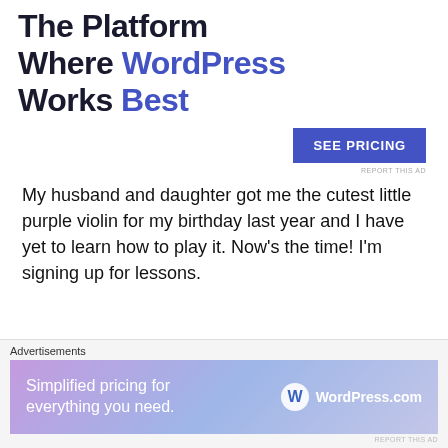[Figure (screenshot): Advertisement banner for WordPress.com with headline 'The Platform Where WordPress Works Best' and a 'SEE PRICING' button]
My husband and daughter got me the cutest little purple violin for my birthday last year and I have yet to learn how to play it. Now's the time! I'm signing up for lessons.
5. Start Riding Horses Again
[Figure (screenshot): Bottom advertisement bar for WordPress.com with 'Simplified pricing for everything you need.' tagline and WordPress.com logo]